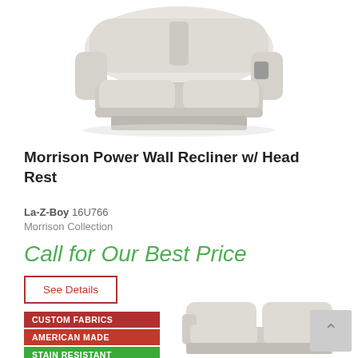[Figure (photo): Photo of a light gray La-Z-Boy Morrison Power Wall Recliner chair with head rest, shown from a slightly elevated angle against white background]
Morrison Power Wall Recliner w/ Head Rest
La-Z-Boy 16U766
Morrison Collection
Call for Our Best Price
See Details
CUSTOM FABRICS
AMERICAN MADE
STAIN RESISTANT
[Figure (photo): Partial photo of a light gray La-Z-Boy loveseat or sofa recliner at the bottom of the page]